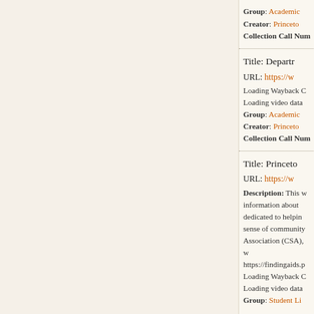Group: Academic ... Creator: Princeton... Collection Call Num...
Title: Depart... URL: https://w... Loading Wayback C... Loading video data... Group: Academic... Creator: Princeton... Collection Call Num...
Title: Princeto... URL: https://w... Description: This w... information about... dedicated to helpin... sense of community... Association (CSA), w... https://findingaids.p... Loading Wayback C... Loading video data... Group: Student Li...